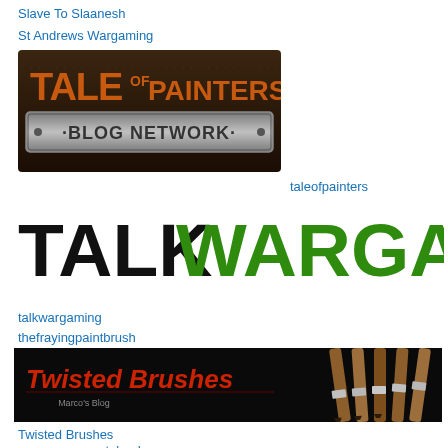Slave To Slaanesh
St Andrews Wargaming
[Figure (logo): Tale of Painters Blog Network logo — dark brown metallic background with orange and silver text]
taleofpainters
[Figure (logo): TALKWARGAMING logo — TALK in black bold text, WARGAMING in green bold text on white background]
talkwargaming
thefrayingpaintbrush
[Figure (logo): Twisted Brushes Marco's Blog banner — red text on black background with paint brushes on the right side]
Twisted Brushes
wargames-wasteland